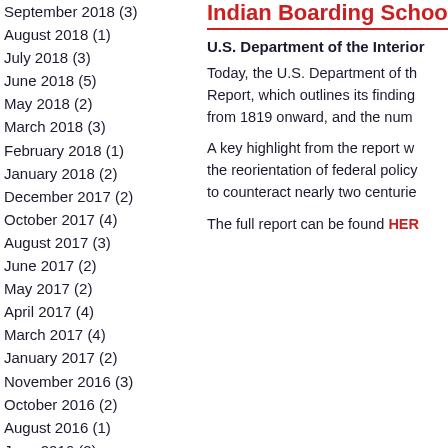September 2018 (3)
August 2018 (1)
July 2018 (3)
June 2018 (5)
May 2018 (2)
March 2018 (3)
February 2018 (1)
January 2018 (2)
December 2017 (2)
October 2017 (4)
August 2017 (3)
June 2017 (2)
May 2017 (2)
April 2017 (4)
March 2017 (4)
January 2017 (2)
November 2016 (3)
October 2016 (2)
August 2016 (1)
June 2016 (2)
May 2016 (4)
March 2016 (3)
Indian Boarding School
U.S. Department of the Interior
Today, the U.S. Department of the Interior released its Federal Indian Boarding School Initiative Investigative Report, which outlines its findings on the federal Indian boarding school system from 1819 onward, and the number of burial sites identified.
A key highlight from the report was the reorientation of federal policy to counteract nearly two centuries of harm.
The full report can be found HERE